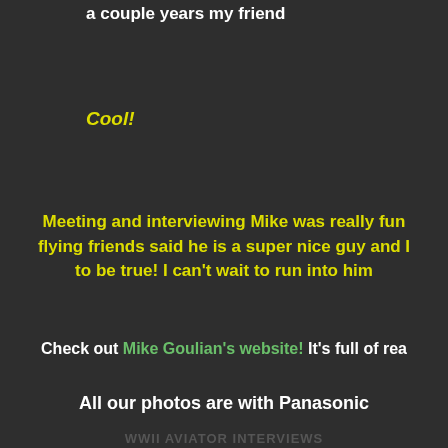a couple years my friend
Cool!
Meeting and interviewing Mike was really fun... flying friends said he is a super nice guy and I ... to be true!  I can't wait to run into him
Check out Mike Goulian's website!  It's full of rea...
All our photos are with Panasonic
WWII AVIATOR INTERVIEWS